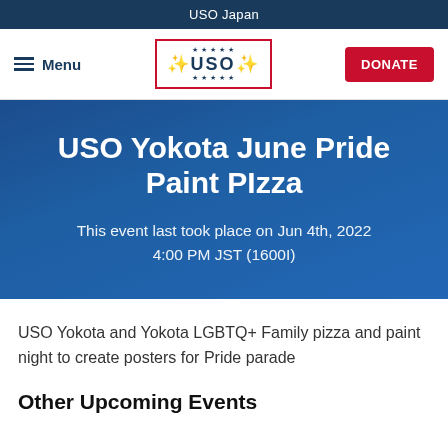USO Japan
[Figure (logo): USO logo with red border and stars, Menu hamburger icon, DONATE red button navigation bar]
USO Yokota June Pride Paint PIzza
This event last took place on Jun 4th, 2022 4:00 PM JST (1600I)
USO Yokota and Yokota LGBTQ+ Family pizza and paint night to create posters for Pride parade
Other Upcoming Events